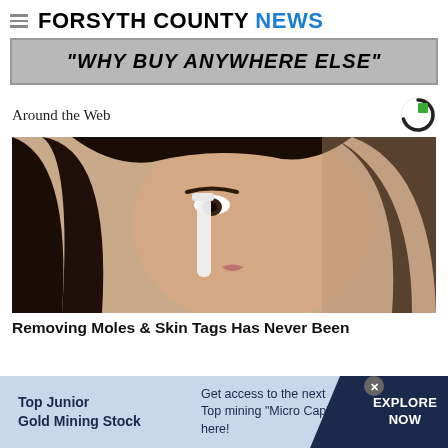FORSYTH COUNTY NEWS
[Figure (screenshot): Advertisement banner with text: "WHY BUY ANYWHERE ELSE"]
Around the Web
[Figure (photo): Close-up photo of a woman applying something white to her nose with a brush or cotton swab. She has long dark hair.]
Removing Moles & Skin Tags Has Never Been
[Figure (infographic): Bottom advertisement bar: 'Top Junior Gold Mining Stock' | 'Get access to the next Top mining "Micro Cap" here!' | 'EXPLORE NOW']